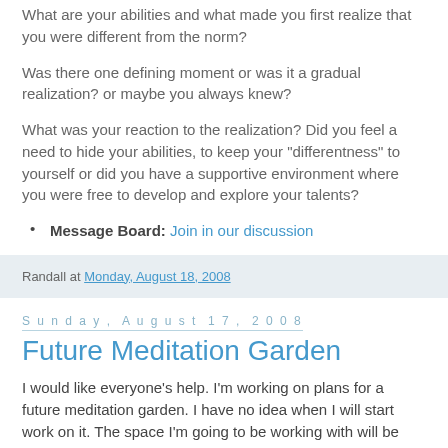What are your abilities and what made you first realize that you were different from the norm?
Was there one defining moment or was it a gradual realization? or maybe you always knew?
What was your reaction to the realization? Did you feel a need to hide your abilities, to keep your "differentness" to yourself or did you have a supportive environment where you were free to develop and explore your talents?
Message Board: Join in our discussion
Randall at Monday, August 18, 2008
Sunday, August 17, 2008
Future Meditation Garden
I would like everyone's help. I'm working on plans for a future meditation garden. I have no idea when I will start work on it. The space I'm going to be working with will be about 50 feet